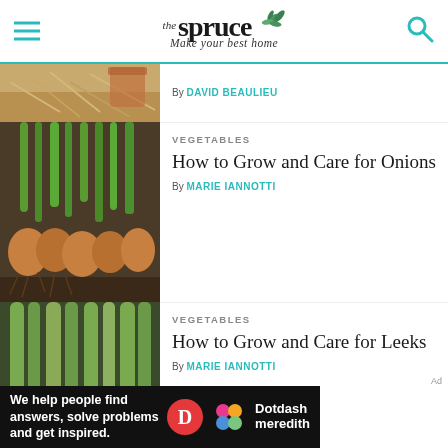the spruce — Make your best home
[Figure (photo): Partial view of straw/mulch with terracotta pots, article by David Beaulieu]
By DAVID BEAULIEU
[Figure (photo): Onion bulbs growing in soil with green shoots]
VEGETABLES
How to Grow and Care for Onions
By MARIE IANNOTTI
[Figure (photo): Leek plants growing in garden soil with long green leaves]
VEGETABLES
How to Grow and Care for Leeks
By MARIE IANNOTTI
[Figure (other): Dotdash Meredith advertisement banner: We help people find answers, solve problems and get inspired.]